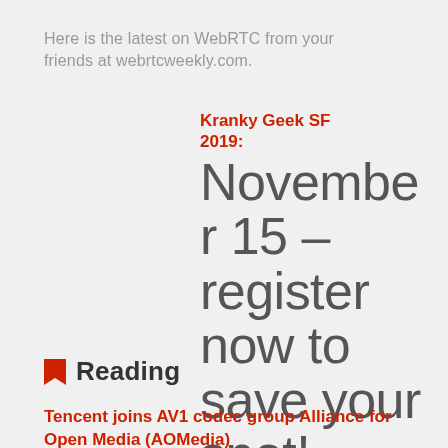Here is the latest on WebRTC from your friends at webrtcweekly.com.
Kranky Geek SF 2019: November 15 – register now to save your spot!
Reading
Tencent joins AV1 codec group Alliance for Open Media (AOMedia)